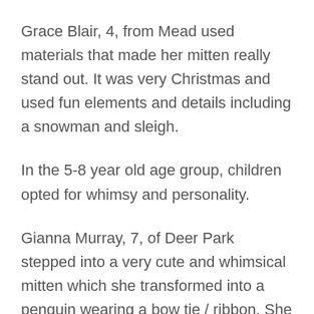Grace Blair, 4, from Mead used materials that made her mitten really stand out. It was very Christmas and used fun elements and details including a snowman and sleigh.
In the 5-8 year old age group, children opted for whimsy and personality.
Gianna Murray, 7, of Deer Park stepped into a very cute and whimsical mitten which she transformed into a penguin wearing a bow tie / ribbon. She also had fun using mixed media, including 3D snowflakes.